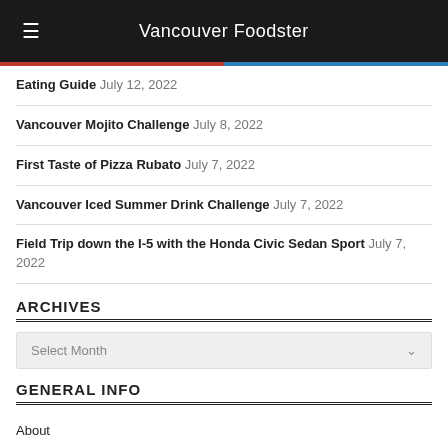Vancouver Foodster
Eating Guide July 12, 2022
Vancouver Mojito Challenge July 8, 2022
First Taste of Pizza Rubato July 7, 2022
Vancouver Iced Summer Drink Challenge July 7, 2022
Field Trip down the I-5 with the Honda Civic Sedan Sport July 7, 2022
ARCHIVES
Select Month
GENERAL INFO
About